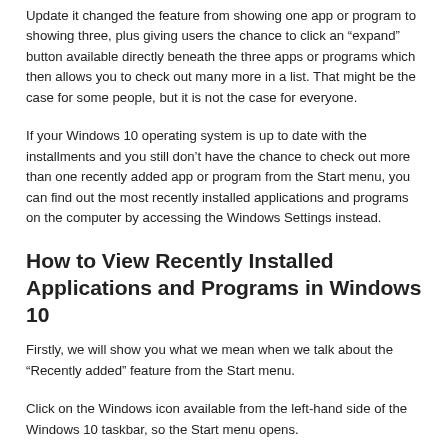Update it changed the feature from showing one app or program to showing three, plus giving users the chance to click an “expand” button available directly beneath the three apps or programs which then allows you to check out many more in a list. That might be the case for some people, but it is not the case for everyone.
If your Windows 10 operating system is up to date with the installments and you still don’t have the chance to check out more than one recently added app or program from the Start menu, you can find out the most recently installed applications and programs on the computer by accessing the Windows Settings instead.
How to View Recently Installed Applications and Programs in Windows 10
Firstly, we will show you what we mean when we talk about the “Recently added” feature from the Start menu.
Click on the Windows icon available from the left-hand side of the Windows 10 taskbar, so the Start menu opens.